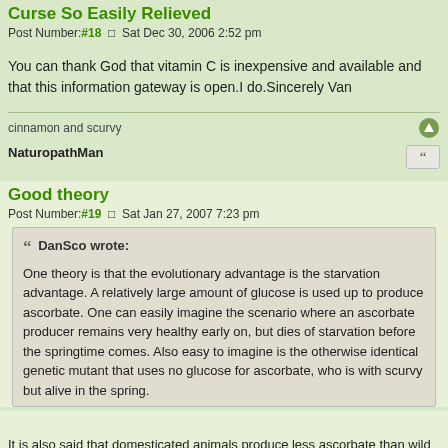Curse So Easily Relieved
Post Number:#18  Sat Dec 30, 2006 2:52 pm
You can thank God that vitamin C is inexpensive and available and that this information gateway is open.I do.Sincerely Van
cinnamon and scurvy
NaturopathMan
Good theory
Post Number:#19  Sat Jan 27, 2007 7:23 pm
DanSco wrote: One theory is that the evolutionary advantage is the starvation advantage. A relatively large amount of glucose is used up to produce ascorbate. One can easily imagine the scenario where an ascorbate producer remains very healthy early on, but dies of starvation before the springtime comes. Also easy to imagine is the otherwise identical genetic mutant that uses no glucose for ascorbate, who is with scurvy but alive in the spring.
It is also said that domesticated animals produce less ascorbate than wild animals. People that raise animals would naturally like the animals